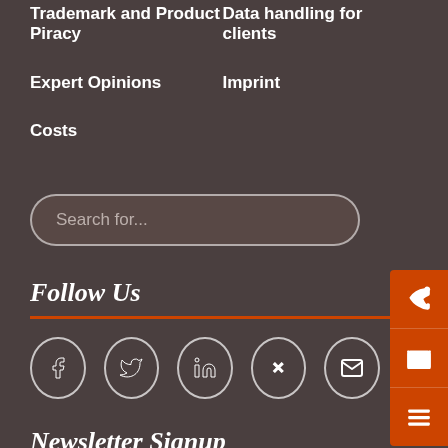Trademark and Product Piracy
Data handling for clients
Expert Opinions
Imprint
Costs
[Figure (other): Search input field with placeholder text 'Search for...']
Follow Us
[Figure (other): Social media icons row: Facebook, Twitter, LinkedIn, Xing, Email]
Newsletter Signup
Title